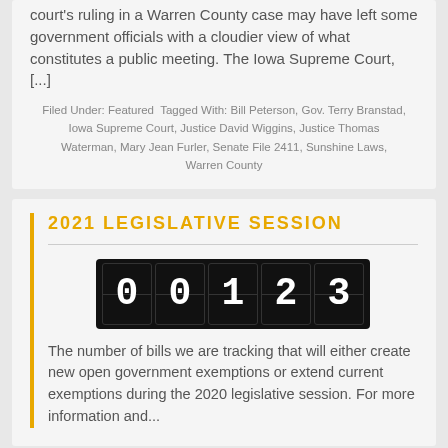court's ruling in a Warren County case may have left some government officials with a cloudier view of what constitutes a public meeting. The Iowa Supreme Court, [...]
Filed Under: Featured Tagged With: Bill Peterson, Gov. Terry Branstad, Iowa Supreme Court, Justice David Wiggins, Justice Thomas Waterman, Mary Jean Furler, Senate File 2411, Sunshine Laws, Warren County
2021 LEGISLATIVE SESSION
[Figure (other): Odometer-style counter displaying the number 00123 with white digits on black background]
The number of bills we are tracking that will either create new open government exemptions or extend current exemptions during the 2020 legislative session. For more information...